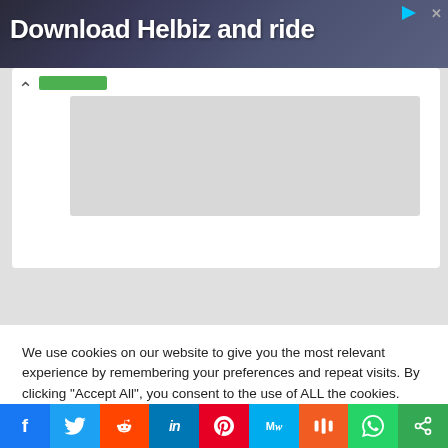[Figure (screenshot): Advertisement banner with text 'Download Helbiz and ride' on a dark photo background showing a person with a scooter/vehicle. Has a play/ad icon and close button in top right.]
[Figure (screenshot): Web page content area showing a white card with an up-arrow chevron and a green button/bar, plus a grey inner content box on a light grey background.]
We use cookies on our website to give you the most relevant experience by remembering your preferences and repeat visits. By clicking "Accept All", you consent to the use of ALL the cookies. However, you may visit "Cookie Settings" to provide a controlled consent.
[Figure (screenshot): Cookie consent buttons: 'Cookie Settings' (grey) and 'Accept All' (green).]
[Figure (screenshot): Social sharing bar with icons for Facebook (f), Twitter, Reddit, LinkedIn (in), Pinterest, MeWe (MW), Mix (m), WhatsApp, and Share buttons in their respective brand colors.]